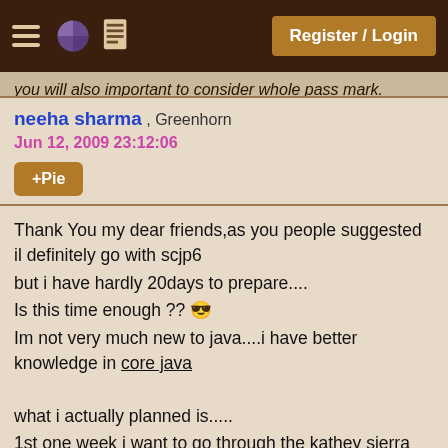Register / Login
you will also important to consider whole pass mark.
neeha sharma , Greenhorn
Jun 12, 2009 23:12:06
+Pie
Thank You my dear friends,as you people suggested il definitely go with scjp6
but i have hardly 20days to prepare....
Is this time enough ??
Im not very much new to java....i have better knowledge in core java

what i actually planned is.....
1st one week i want to go through the kathey sierra book as i have already read that book once
next 1 week i want to practise mock exam
Is this preperation enough???
otherwise tell me the better way to prepare and score good marks